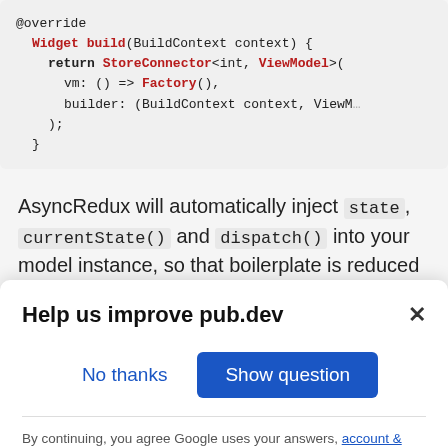[Figure (screenshot): Code block showing Dart/Flutter code with @override, Widget build(BuildContext context), return StoreConnector<int, ViewModel>( vm: () => Factory(), builder: (BuildContext context, ViewM... );]
AsyncRedux will automatically inject state, currentState() and dispatch() into your model instance, so that boilerplate is reduced in your fromStore method. For example:
[Figure (screenshot): Modal dialog: 'Help us improve pub.dev' with X close button, 'No thanks' and 'Show question' buttons, footer text about Google account & system info, Privacy and Terms links.]